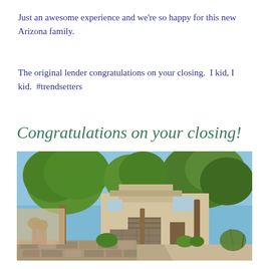Just an awesome experience and we're so happy for this new Arizona family.
The original lender congratulations on your closing.  I kid, I kid.  #trendsetters
Congratulations on your closing!
[Figure (photo): Exterior photo of a residential home in Arizona with desert landscaping, trees, and a stone wall in the foreground]